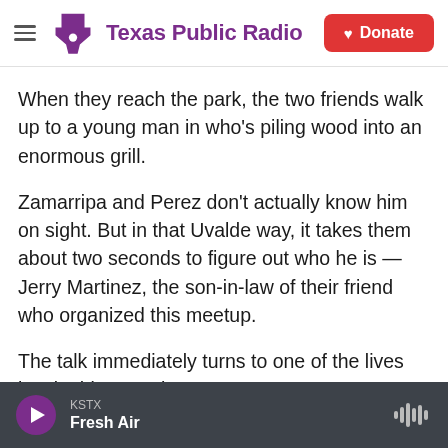Texas Public Radio | Donate
When they reach the park, the two friends walk up to a young man in who's piling wood into an enormous grill.
Zamarripa and Perez don't actually know him on sight. But in that Uvalde way, it takes them about two seconds to figure out who he is — Jerry Martinez, the son-in-law of their friend who organized this meetup.
The talk immediately turns to one of the lives lost in this tragedy.
KSTX Fresh Air